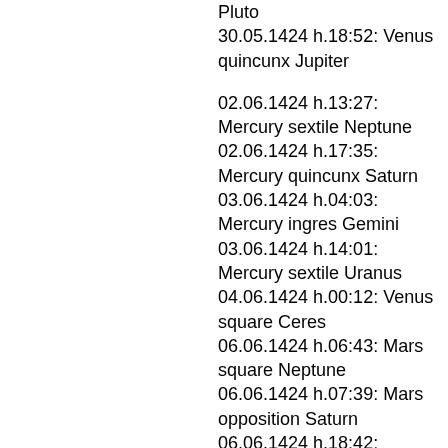Pluto
30.05.1424 h.18:52: Venus quincunx Jupiter
02.06.1424 h.13:27: Mercury sextile Neptune
02.06.1424 h.17:35: Mercury quincunx Saturn
03.06.1424 h.04:03: Mercury ingres Gemini
03.06.1424 h.14:01: Mercury sextile Uranus
04.06.1424 h.00:12: Venus square Ceres
06.06.1424 h.06:43: Mars square Neptune
06.06.1424 h.07:39: Mars opposition Saturn
06.06.1424 h.18:42: Saturn square Neptune
07.06.1424 h.02:39: Mars sextile Pluto
07.06.1424 h.08:42: Mars ingres Taurus
07.06.1424 h.18:46: Mercury trine Jupiter